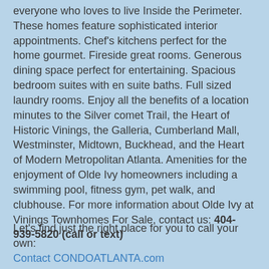everyone who loves to live Inside the Perimeter. These homes feature sophisticated interior appointments. Chef's kitchens perfect for the home gourmet. Fireside great rooms. Generous dining space perfect for entertaining. Spacious bedroom suites with en suite baths. Full sized laundry rooms. Enjoy all the benefits of a location minutes to the Silver comet Trail, the Heart of Historic Vinings, the Galleria, Cumberland Mall, Westminster, Midtown, Buckhead, and the Heart of Modern Metropolitan Atlanta. Amenities for the enjoyment of Olde Ivy homeowners including a swimming pool, fitness gym, pet walk, and clubhouse. For more information about Olde Ivy at Vinings Townhomes For Sale, contact us: 404-939-5820 (call or text)
Let's find just the right place for you to call your own:
Contact CONDOATLANTA.com